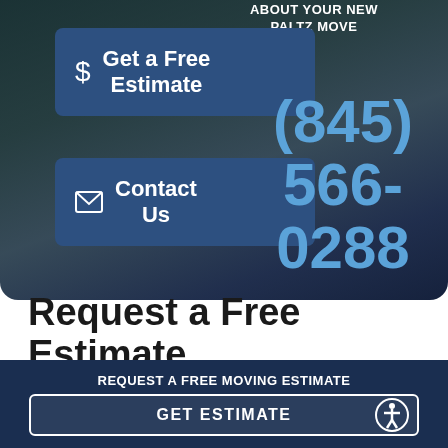[Figure (screenshot): Hero background image of a scenic landscape (lake/river with mountains and autumn foliage) with dark overlay, containing two CTA buttons on the left (Get a Free Estimate, Contact Us) and a large phone number (845) 566-0288 on the right.]
ABOUT YOUR NEW PALTZ MOVE
$ Get a Free Estimate
Contact Us
(845) 566-0288
Request a Free Estimate Today
REQUEST A FREE MOVING ESTIMATE
GET ESTIMATE